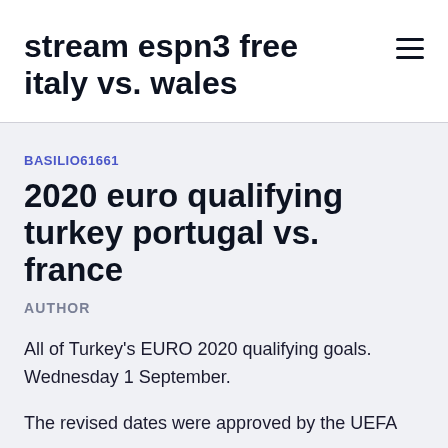stream espn3 free italy vs. wales
BASILIO61661
2020 euro qualifying turkey portugal vs. france
AUTHOR
All of Turkey's EURO 2020 qualifying goals. Wednesday 1 September.
The revised dates were approved by the UEFA